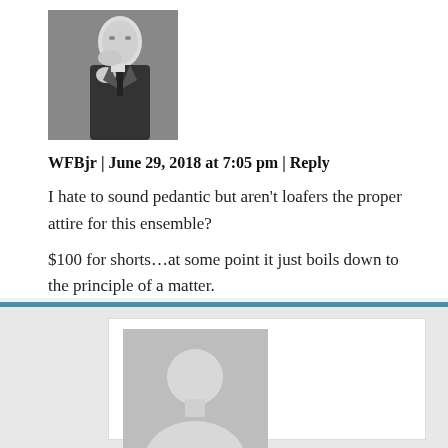[Figure (photo): Black and white photograph of a man in a suit with his hand near his face]
WFBjr | June 29, 2018 at 7:05 pm | Reply
I hate to sound pedantic but aren't loafers the proper attire for this ensemble?
$100 for shorts…at some point it just boils down to the principle of a matter.
[Figure (illustration): Generic gray avatar/silhouette placeholder image for a user with no profile photo]
Doug | June 29, 2018 at 7:58 pm | Reply